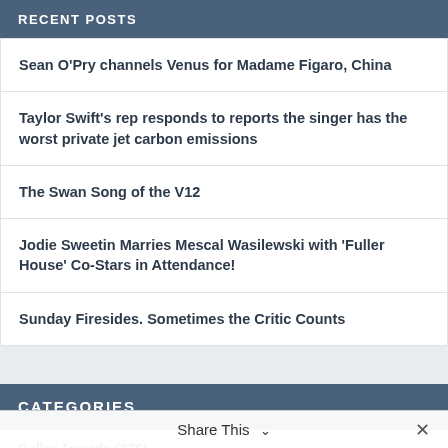RECENT POSTS
Sean O'Pry channels Venus for Madame Figaro, China
Taylor Swift's rep responds to reports the singer has the worst private jet carbon emissions
The Swan Song of the V12
Jodie Sweetin Marries Mescal Wasilewski with 'Fuller House' Co-Stars in Attendance!
Sunday Firesides. Sometimes the Critic Counts
CATEGORIES
Baller Awards (676)
Share This ∨  ✕